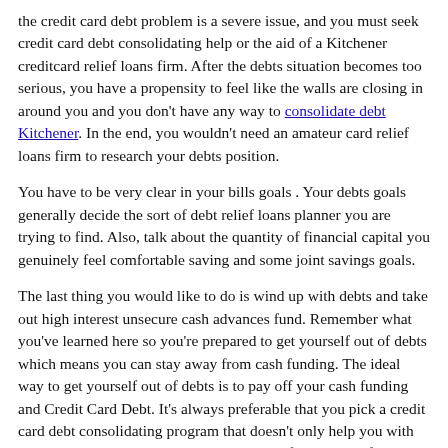the credit card debt problem is a severe issue, and you must seek credit card debt consolidating help or the aid of a Kitchener creditcard relief loans firm. After the debts situation becomes too serious, you have a propensity to feel like the walls are closing in around you and you don't have any way to consolidate debt Kitchener. In the end, you wouldn't need an amateur card relief loans firm to research your debts position.
You have to be very clear in your bills goals . Your debts goals generally decide the sort of debt relief loans planner you are trying to find. Also, talk about the quantity of financial capital you genuinely feel comfortable saving and some joint savings goals.
The last thing you would like to do is wind up with debts and take out high interest unsecure cash advances fund. Remember what you've learned here so you're prepared to get yourself out of debts which means you can stay away from cash funding. The ideal way to get yourself out of debts is to pay off your cash funding and Credit Card Debt. It's always preferable that you pick a credit card debt consolidating program that doesn't only help you with debts but will also coach you to keep away from debts. If you realize that you're drowning in Kitchener debts and needing assistance with credit consolidation loans, then you need not be afraid to seek out a trustworthy consolidate debt Kitchener service that's equipped to help you meet your Kitchener financial targets. If you're over